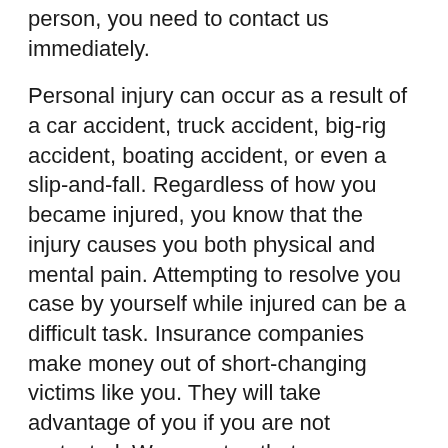person, you need to contact us immediately.
Personal injury can occur as a result of a car accident, truck accident, big-rig accident, boating accident, or even a slip-and-fall. Regardless of how you became injured, you know that the injury causes you both physical and mental pain. Attempting to resolve you case by yourself while injured can be a difficult task. Insurance companies make money out of short-changing victims like you. They will take advantage of you if you are not protected. We can stop that.
The Denton Law Firm takes an aggressive stance with insurance companies in order to protect you. We set the tone and pace of your case in order to maximize your recovery.
If you have been a victim of someone's negligence, here is what you do.